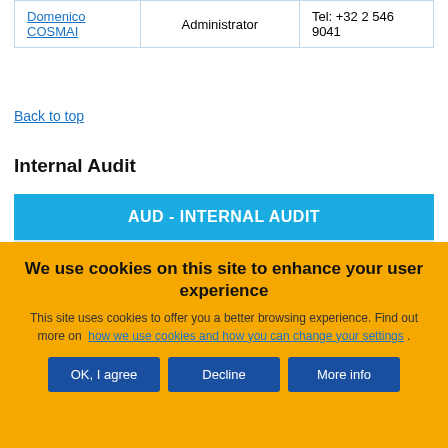| Name | Role | Contact |
| --- | --- | --- |
| Domenico COSMAI | Administrator | Tel: +32 2 546 9041 |
Back to top
Internal Audit
AUD - INTERNAL AUDIT
We use cookies on this site to enhance your user experience
This site uses cookies to offer you a better browsing experience. Find out more on how we use cookies and how you can change your settings .